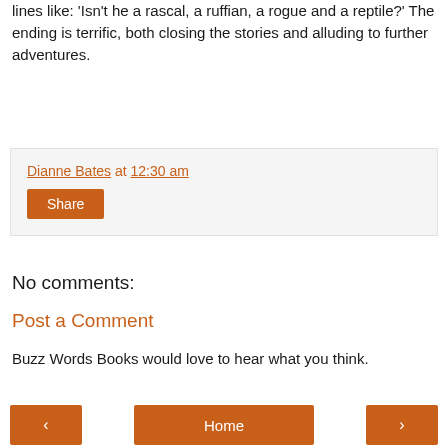lines like: 'Isn't he a rascal, a ruffian, a rogue and a reptile?' The ending is terrific, both closing the stories and alluding to further adventures.
Dianne Bates at 12:30 am
Share
No comments:
Post a Comment
Buzz Words Books would love to hear what you think.
< Home >